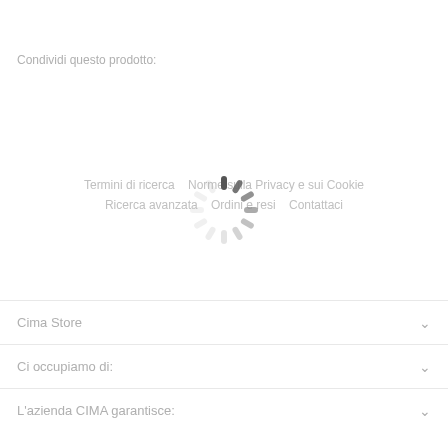Condividi questo prodotto:
[Figure (infographic): Loading spinner (radial spokes animation indicator) centered on page over footer navigation links]
Termini di ricerca   Norme sulla Privacy e sui Cookie
Ricerca avanzata   Ordini e resi   Contattaci
Cima Store
Ci occupiamo di:
L'azienda CIMA garantisce: